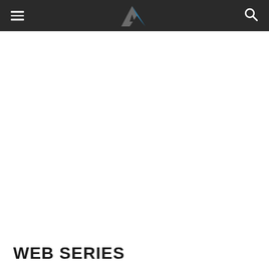Navigation header with hamburger menu, logo, and search icon
[Figure (logo): Stylized letter A logo with grey triangular left portion and blue right spike, centered in dark header bar]
WEB SERIES